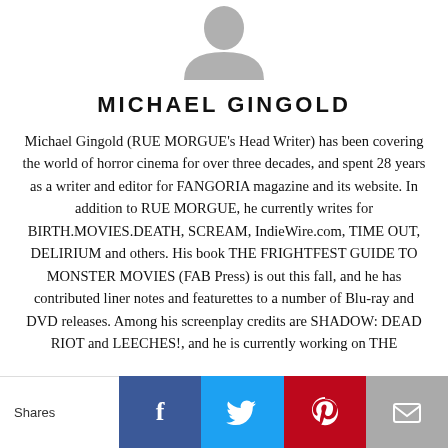[Figure (illustration): Generic grey user avatar / silhouette icon at top center]
MICHAEL GINGOLD
Michael Gingold (RUE MORGUE's Head Writer) has been covering the world of horror cinema for over three decades, and spent 28 years as a writer and editor for FANGORIA magazine and its website. In addition to RUE MORGUE, he currently writes for BIRTH.MOVIES.DEATH, SCREAM, IndieWire.com, TIME OUT, DELIRIUM and others. His book THE FRIGHTFEST GUIDE TO MONSTER MOVIES (FAB Press) is out this fall, and he has contributed liner notes and featurettes to a number of Blu-ray and DVD releases. Among his screenplay credits are SHADOW: DEAD RIOT and LEECHES!, and he is currently working on THE
[Figure (infographic): Social sharing bar with Shares label, Facebook, Twitter, Pinterest, and Email buttons]